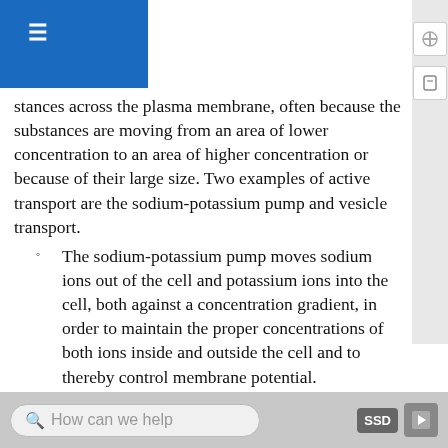stances across the plasma membrane, often because the substances are moving from an area of lower concentration to an area of higher concentration or because of their large size. Two examples of active transport are the sodium-potassium pump and vesicle transport.
The sodium-potassium pump moves sodium ions out of the cell and potassium ions into the cell, both against a concentration gradient, in order to maintain the proper concentrations of both ions inside and outside the cell and to thereby control membrane potential.
Vesicle transport uses vesicles to move large molecules into or out of cells.
Energy is the ability to do work and is needed by every living cell to carry out life processes.
How can we help